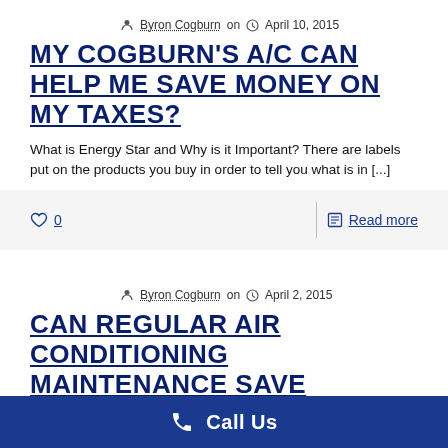Byron Cogburn on  April 10, 2015
MY COGBURN'S A/C CAN HELP ME SAVE MONEY ON MY TAXES?
What is Energy Star and Why is it Important? There are labels put on the products you buy in order to tell you what is in [...]
0
Read more
Byron Cogburn on  April 2, 2015
CAN REGULAR AIR CONDITIONING MAINTENANCE SAVE
Call Us